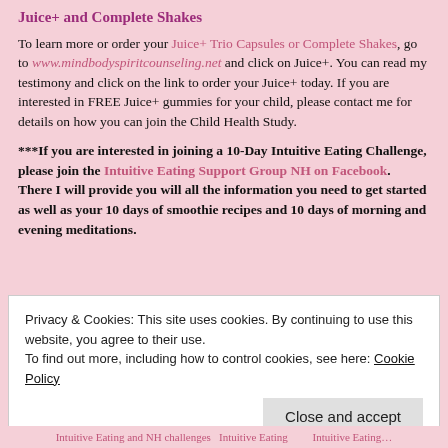Juice+ and Complete Shakes
To learn more or order your Juice+ Trio Capsules or Complete Shakes, go to www.mindbodyspiritcounseling.net and click on Juice+. You can read my testimony and click on the link to order your Juice+ today. If you are interested in FREE Juice+ gummies for your child, please contact me for details on how you can join the Child Health Study.
***If you are interested in joining a 10-Day Intuitive Eating Challenge, please join the Intuitive Eating Support Group NH on Facebook.  There I will provide you will all the information you need to get started as well as your 10 days of smoothie recipes and 10 days of morning and evening meditations.
Privacy & Cookies: This site uses cookies. By continuing to use this website, you agree to their use.
To find out more, including how to control cookies, see here: Cookie Policy
Close and accept
Intuitive Eating and NH challenges Intuitive Eating...